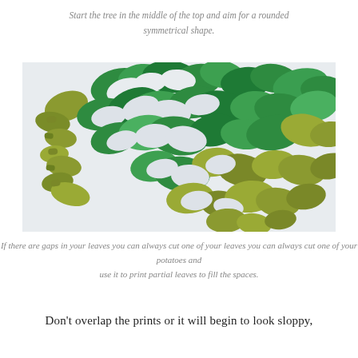Start the tree in the middle of the top and aim for a rounded symmetrical shape.
[Figure (photo): A photograph of green leaf potato prints arranged in a rounded tree shape on white paper, showing various shades of green.]
If there are gaps in your leaves you can always cut one of your potatoes and use it to print partial leaves to fill the spaces.
Don't overlap the prints or it will begin to look sloppy,